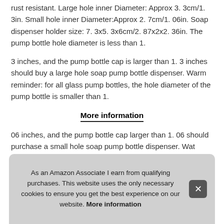rust resistant. Large hole inner Diameter: Approx 3. 3cm/1. 3in. Small hole inner Diameter:Approx 2. 7cm/1. 06in. Soap dispenser holder size: 7. 3x5. 3x6cm/2. 87x2x2. 36in. The pump bottle hole diameter is less than 1.
3 inches, and the pump bottle cap is larger than 1. 3 inches should buy a large hole soap pump bottle dispenser. Warm reminder: for all glass pump bottles, the hole diameter of the pump bottle is smaller than 1.
More information
06 inches, and the pump bottle cap larger than 1. 06 should purchase a small hole soap pump bottle dispenser. Wat... clea... clut... cus...
As an Amazon Associate I earn from qualifying purchases. This website uses the only necessary cookies to ensure you get the best experience on our website. More information